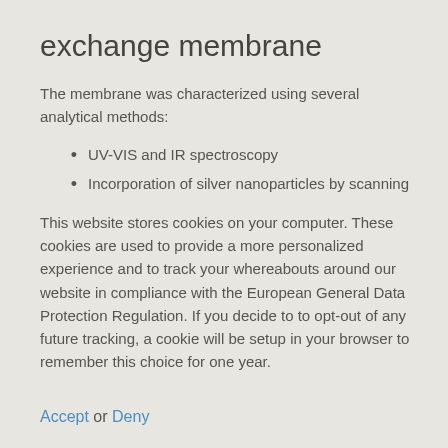exchange membrane
The membrane was characterized using several analytical methods:
UV-VIS and IR spectroscopy
Incorporation of silver nanoparticles by scanning
This website stores cookies on your computer. These cookies are used to provide a more personalized experience and to track your whereabouts around our website in compliance with the European General Data Protection Regulation. If you decide to to opt-out of any future tracking, a cookie will be setup in your browser to remember this choice for one year.
Accept or Deny